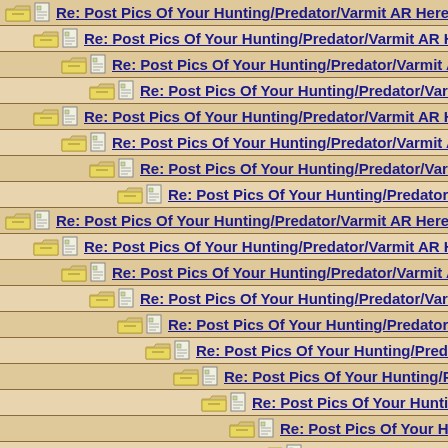Re: Post Pics Of Your Hunting/Predator/Varmit AR Here !!
Re: Post Pics Of Your Hunting/Predator/Varmit AR Here !!
Re: Post Pics Of Your Hunting/Predator/Varmit AR Here !!
Re: Post Pics Of Your Hunting/Predator/Varmit AR Here
Re: Post Pics Of Your Hunting/Predator/Varmit AR Here !!
Re: Post Pics Of Your Hunting/Predator/Varmit AR Here !!
Re: Post Pics Of Your Hunting/Predator/Varmit AR Here
Re: Post Pics Of Your Hunting/Predator/Varmit AR He
Re: Post Pics Of Your Hunting/Predator/Varmit AR Here !!
Re: Post Pics Of Your Hunting/Predator/Varmit AR Here !!
Re: Post Pics Of Your Hunting/Predator/Varmit AR Here
Re: Post Pics Of Your Hunting/Predator/Varmit AR He
Re: Post Pics Of Your Hunting/Predator/Varmit AR H
Re: Post Pics Of Your Hunting/Predator/Varmit AR
Re: Post Pics Of Your Hunting/Predator/Varmit
Re: Post Pics Of Your Hunting/Predator/Varm
Re: Post Pics Of Your Hunting/Predator/Va
Re: Post Pics Of Your Hunting/Predator/